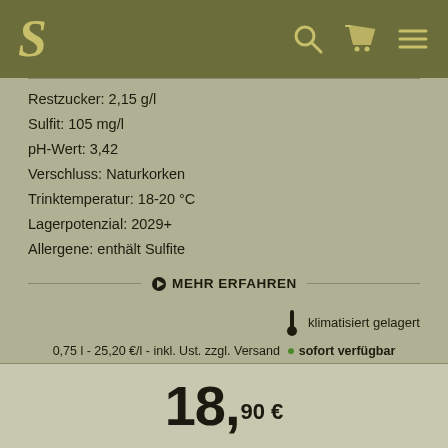S [logo] [search icon] [cart icon] [menu icon]
Restzucker: 2,15 g/l
Sulfit: 105 mg/l
pH-Wert: 3,42
Verschluss: Naturkorken
Trinktemperatur: 18-20 °C
Lagerpotenzial: 2029+
Allergene: enthält Sulfite
▶ MEHR ERFAHREN
klimatisiert gelagert
0,75 l - 25,20 €/l - inkl. Ust. zzgl. Versand • sofort verfügbar
18,90 €